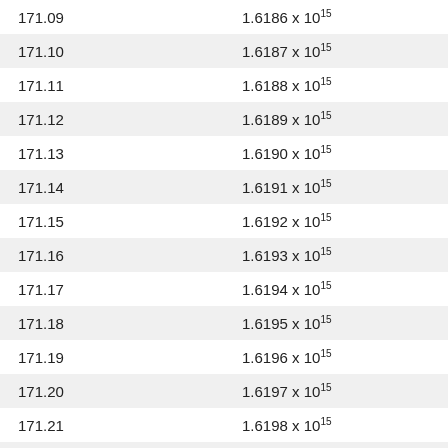| 171.09 | 1.6186 × 10¹⁵ |
| 171.10 | 1.6187 × 10¹⁵ |
| 171.11 | 1.6188 × 10¹⁵ |
| 171.12 | 1.6189 × 10¹⁵ |
| 171.13 | 1.6190 × 10¹⁵ |
| 171.14 | 1.6191 × 10¹⁵ |
| 171.15 | 1.6192 × 10¹⁵ |
| 171.16 | 1.6193 × 10¹⁵ |
| 171.17 | 1.6194 × 10¹⁵ |
| 171.18 | 1.6195 × 10¹⁵ |
| 171.19 | 1.6196 × 10¹⁵ |
| 171.20 | 1.6197 × 10¹⁵ |
| 171.21 | 1.6198 × 10¹⁵ |
| ... | ... × 10¹⁵ |